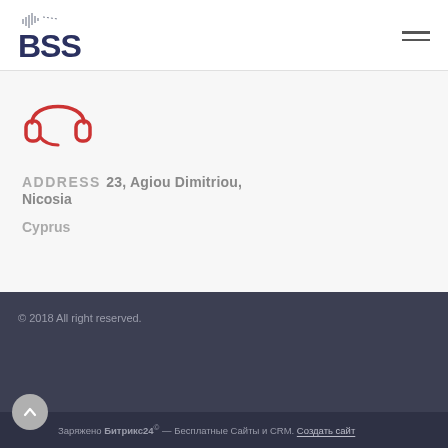[Figure (logo): BSS company logo with sound wave graphic above bold dark blue letters 'BSS']
[Figure (illustration): Red headset/headphones icon]
ADDRESS 23, Agiou Dimitriou, Nicosia
Cyprus
© 2018 All right reserved.
Заряжено Битрикс24© — Бесплатные Сайты и CRM. Создать сайт